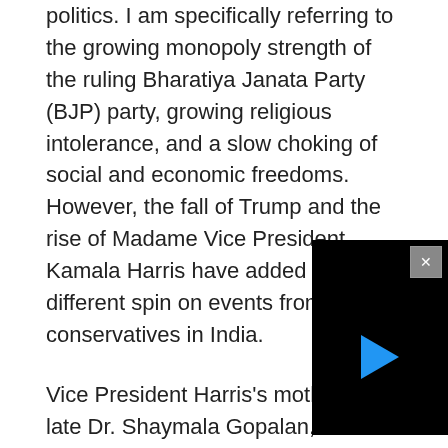politics. I am specifically referring to the growing monopoly strength of the ruling Bharatiya Janata Party (BJP) party, growing religious intolerance, and a slow choking of social and economic freedoms. However, the fall of Trump and the rise of Madame Vice President Kamala Harris have added a different spin on events from the conservatives in India.
Vice President Harris's mother, the late Dr. Shaymala Gopalan, was na[...] town of Thulase[...] Harris shares In[...] about going to [...] has been a cau[...] the world, not ju[...] President's ancestral town celebrated her victory with great pomp. Most notably, Narendra Modi has [...]
[Figure (other): A black video player overlay with a close/X button in the top right and a blue play triangle in the center, partially overlapping text content.]